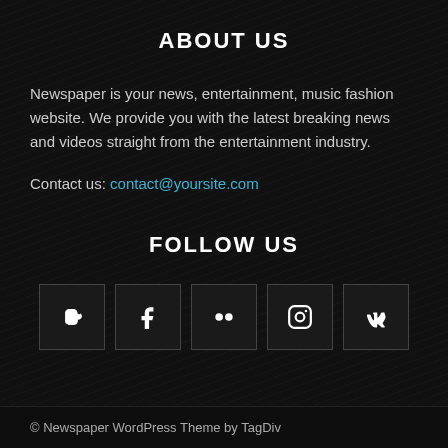ABOUT US
Newspaper is your news, entertainment, music fashion website. We provide you with the latest breaking news and videos straight from the entertainment industry.
Contact us: contact@yoursite.com
FOLLOW US
[Figure (other): Row of 5 social media icon buttons: Blogger, Facebook, Flickr, Instagram, VK]
© Newspaper WordPress Theme by TagDiv